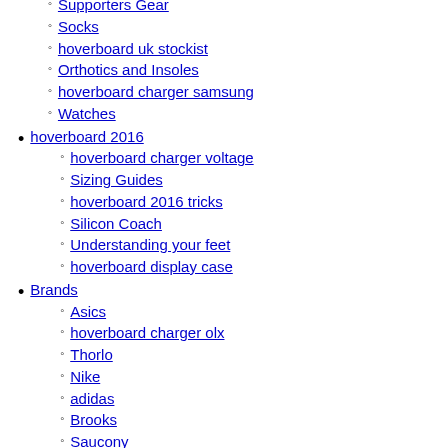Supporters Gear (partial, clipped at top)
Socks
hoverboard uk stockist
Orthotics and Insoles
hoverboard charger samsung
Watches
hoverboard 2016
hoverboard charger voltage
Sizing Guides
hoverboard 2016 tricks
Silicon Coach
Understanding your feet
hoverboard display case
Brands
Asics
hoverboard charger olx
Thorlo
Nike
adidas
Brooks
Saucony
Mizuno
Lightfeet
Reebok
Orthaheel
CU Energy (partial, clipped at bottom)